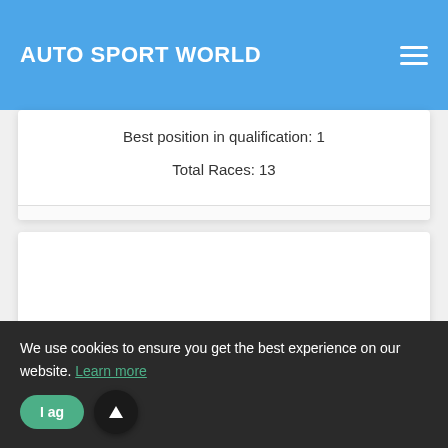AUTO SPORT WORLD
Best position in qualification: 1
Total Races: 13
We use cookies to ensure you get the best experience on our website. Learn more
I agree